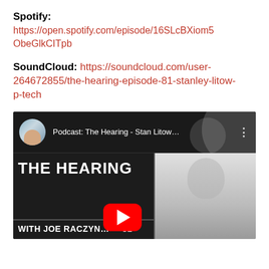Spotify: https://open.spotify.com/episode/16SLcBXiom5ObeGlkCITpb
SoundCloud: https://soundcloud.com/user-264672855/the-hearing-episode-81-stanley-litow-p-tech
[Figure (screenshot): YouTube video thumbnail for podcast episode 'Podcast: The Hearing - Stan Litow...' showing 'THE HEARING WITH JOE RACZYN... 81' with a photo of a man with glasses and a YouTube play button overlay.]